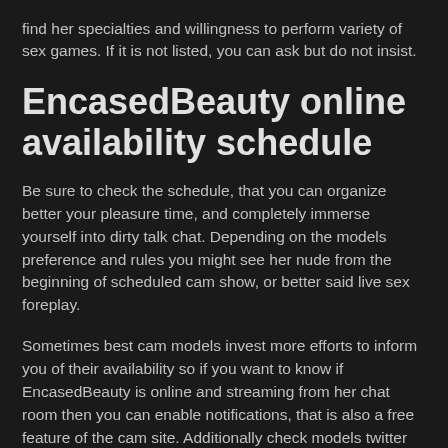find her specialties and willingness to perform variety of sex games. If it is not listed, you can ask but do not insist.
EncasedBeauty online availability schedule
Be sure to check the schedule, that you can organize better your pleasure time, and completely immerse yourself into dirty talk chat. Depending on the models preference and rules you might see her nude from the beginning of scheduled cam show, or better said live sex foreplay.
Sometimes best cam models invest more efforts to inform you of their availability so if you want to know if EncasedBeauty is online and streaming from her chat room then you can enable notifications, that is also a free feature of the cam site. Additionally check models twitter where updates are posted about upcoming live sex performances, goals announcements, and other...